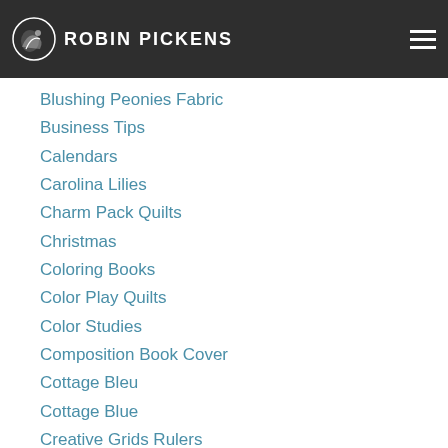Robin Pickens
Blushing Peonies Fabric
Business Tips
Calendars
Carolina Lilies
Charm Pack Quilts
Christmas
Coloring Books
Color Play Quilts
Color Studies
Composition Book Cover
Cottage Bleu
Cottage Blue
Creative Grids Rulers
Criss Cross Kisses
Curated Quilts Mini
Curved Block Quilts
Dandi Annie